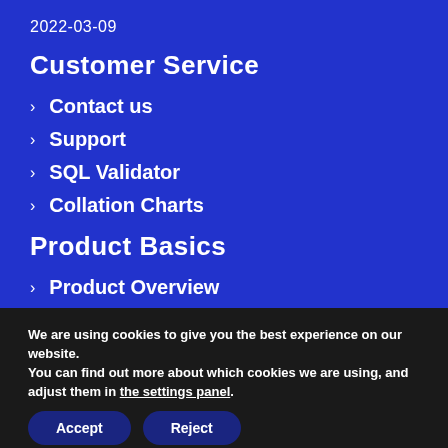2022-03-09
Customer Service
> Contact us
> Support
> SQL Validator
> Collation Charts
Product Basics
> Product Overview
We are using cookies to give you the best experience on our website.
You can find out more about which cookies we are using, and adjust them in the settings panel.
Accept  Reject